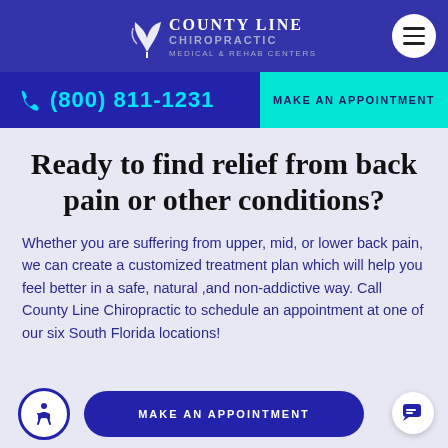County Line Chiropractic Medical & Rehab Centers
(800) 811-1231
MAKE AN APPOINTMENT
Ready to find relief from back pain or other conditions?
Whether you are suffering from upper, mid, or lower back pain, we can create a customized treatment plan which will help you feel better in a safe, natural ,and non-addictive way. Call County Line Chiropractic to schedule an appointment at one of our six South Florida locations!
MAKE AN APPOINTMENT